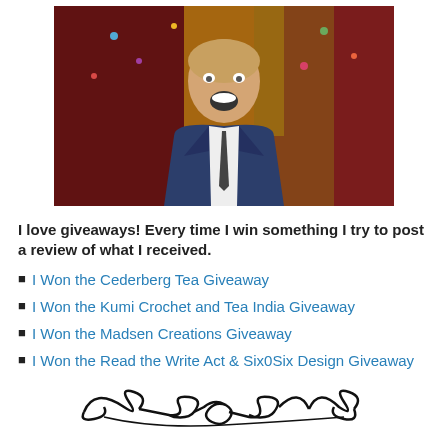[Figure (photo): Man in a suit with open mouth (surprised/excited expression) at a party with confetti and a sequined backdrop]
I love giveaways! Every time I win something I try to post a review of what I received.
I Won the Cederberg Tea Giveaway
I Won the Kumi Crochet and Tea India Giveaway
I Won the Madsen Creations Giveaway
I Won the Read the Write Act & Six0Six Design Giveaway
[Figure (illustration): Decorative black swirl/flourish divider graphic]